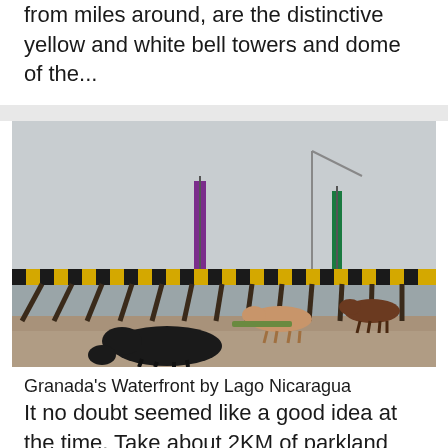from miles around, are the distinctive yellow and white bell towers and dome of the...
[Figure (photo): Photo of a pier/dock over Lago Nicaragua with cattle grazing on the sandy waterfront in the foreground. The pier has yellow and black striped railing. Colorful banners (purple and green) hang from posts. Overcast sky in background.]
Granada's Waterfront by Lago Nicaragua
It no doubt seemed like a good idea at the time. Take about 2KM of parkland along the